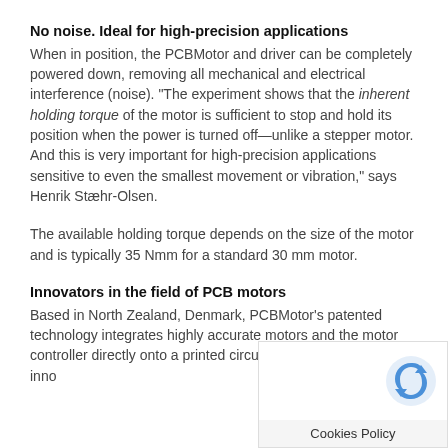No noise. Ideal for high-precision applications
When in position, the PCBMotor and driver can be completely powered down, removing all mechanical and electrical interference (noise). “The experiment shows that the inherent holding torque of the motor is sufficient to stop and hold its position when the power is turned off—unlike a stepper motor. And this is very important for high-precision applications sensitive to even the smallest movement or vibration,” says Henrik Stæhr-Olsen.
The available holding torque depends on the size of the motor and is typically 35 Nmm for a standard 30 mm motor.
Innovators in the field of PCB motors
Based in North Zealand, Denmark, PCBMotor’s patented technology integrates highly accurate motors and the motor controller directly onto a printed circuit board. Their on-board innov… significantly reduces costs and introduces…